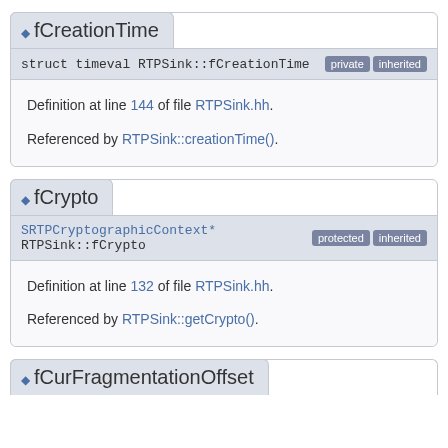fCreationTime
struct timeval RTPSink::fCreationTime [private] [inherited]
Definition at line 144 of file RTPSink.hh.

Referenced by RTPSink::creationTime().
fCrypto
SRTPCryptographicContext* RTPSink::fCrypto [protected] [inherited]
Definition at line 132 of file RTPSink.hh.

Referenced by RTPSink::getCrypto().
fCurFragmentationOffset